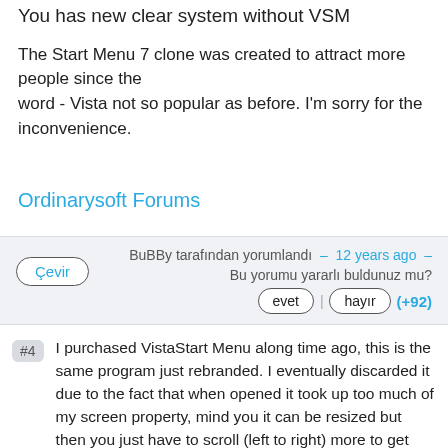You has new clear system without VSM
The Start Menu 7 clone was created to attract more people since the word - Vista not so popular as before. I'm sorry for the inconvenience.
Ordinarysoft Forums
BuBBy tarafından yorumlandı – 12 years ago –
Bu yorumu yararlı buldunuz mu?
Çevir
evet | hayır (+92)
#4  I purchased VistaStart Menu along time ago, this is the same program just rebranded. I eventually discarded it due to the fact that when opened it took up too much of my screen property, mind you it can be resized but then you just have to scroll (left to right) more to get through the program menus. Another note: you can not have the transparency effect like you see in the screen- shots on Windows XP.